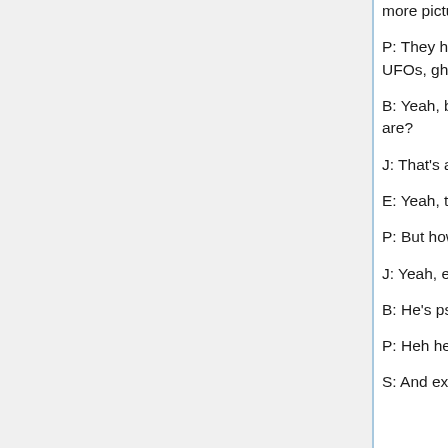more pictures and videos of UFOs.
P: They haven't turned up anything - there's no Big Foot, there's no Nessie, there's no UFOs, ghosts, there's nothing.
B: Yeah, but doesn't that just go to prove just how sophisticated and elusive those aliens are?
J: That's a good point, Bob.
E: Yeah, they've managed to keep one step ahead of our technology.
P: But how do you explain Big Foot, Bob, you're not going to tell me he's sophisticated.
J: Yeah, explain xx Bob, c'mon.
B: He's psychic, he's psychic.
P: Heh heh.
S: And extra-dimensional.